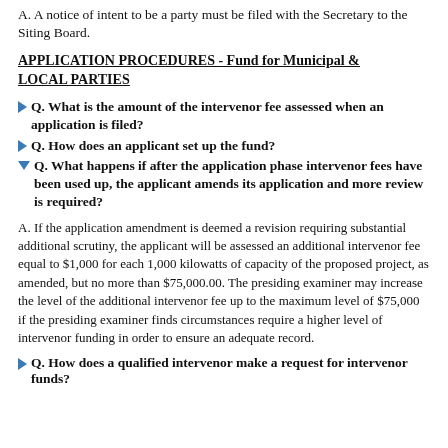A. A notice of intent to be a party must be filed with the Secretary to the Siting Board.
APPLICATION PROCEDURES - Fund for Municipal & LOCAL PARTIES
Q. What is the amount of the intervenor fee assessed when an application is filed?
Q. How does an applicant set up the fund?
Q. What happens if after the application phase intervenor fees have been used up, the applicant amends its application and more review is required?
A. If the application amendment is deemed a revision requiring substantial additional scrutiny, the applicant will be assessed an additional intervenor fee equal to $1,000 for each 1,000 kilowatts of capacity of the proposed project, as amended, but no more than $75,000.00. The presiding examiner may increase the level of the additional intervenor fee up to the maximum level of $75,000 if the presiding examiner finds circumstances require a higher level of intervenor funding in order to ensure an adequate record.
Q. How does a qualified intervenor make a request for intervenor funds?